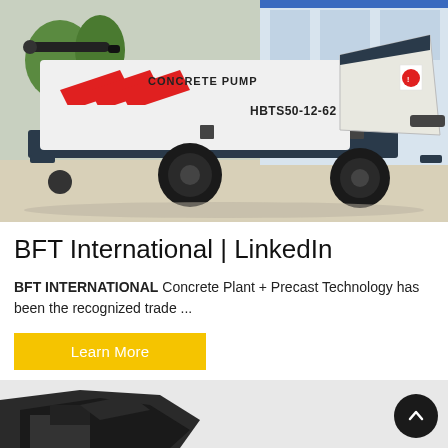[Figure (photo): White concrete pump machine model HBTS50-12-62 with red chevron markings on the side, mounted on a wheeled trailer chassis, photographed outdoors in front of a building. Text on machine reads 'CONCRETE PUMP' and 'HBTS50-12-62'.]
BFT International | LinkedIn
BFT INTERNATIONAL Concrete Plant + Precast Technology has been the recognized trade ...
Learn More
[Figure (photo): Bottom strip showing partial view of dark-colored construction equipment or machinery, cropped at bottom of page.]